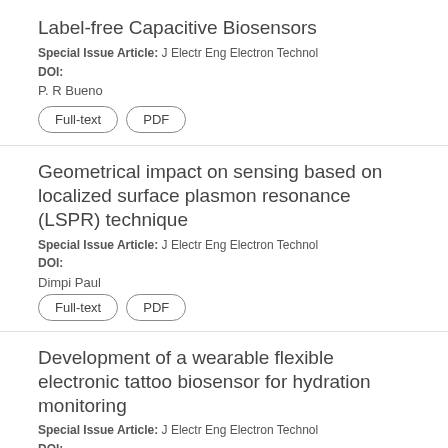Label-free Capacitive Biosensors
Special Issue Article: J Electr Eng Electron Technol
DOI:
P. R Bueno
Geometrical impact on sensing based on localized surface plasmon resonance (LSPR) technique
Special Issue Article: J Electr Eng Electron Technol
DOI:
Dimpi Paul
Development of a wearable flexible electronic tattoo biosensor for hydration monitoring
Special Issue Article: J Electr Eng Electron Technol
DOI: